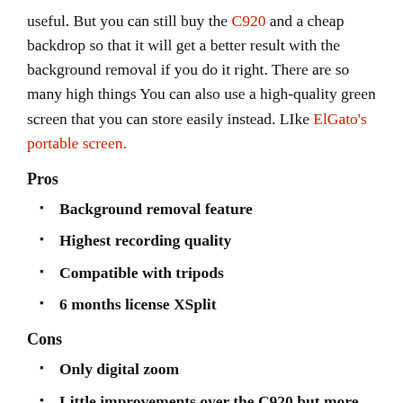useful. But you can still buy the C920 and a cheap backdrop so that it will get a better result with the background removal if you do it right. There are so many high things You can also use a high-quality green screen that you can store easily instead. LIke ElGato's portable screen.
Pros
Background removal feature
Highest recording quality
Compatible with tripods
6 months license XSplit
Cons
Only digital zoom
Little improvements over the C920 but more